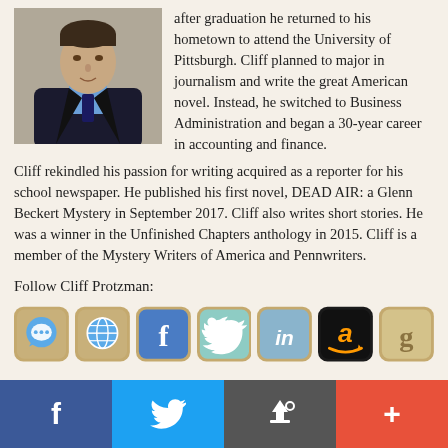[Figure (photo): Headshot of Cliff Protzman, a man in a dark suit with a blue shirt, against a light background.]
after graduation he returned to his hometown to attend the University of Pittsburgh. Cliff planned to major in journalism and write the great American novel. Instead, he switched to Business Administration and began a 30-year career in accounting and finance.
Cliff rekindled his passion for writing acquired as a reporter for his school newspaper. He published his first novel, DEAD AIR: a Glenn Beckert Mystery in September 2017. Cliff also writes short stories. He was a winner in the Unfinished Chapters anthology in 2015. Cliff is a member of the Mystery Writers of America and Pennwriters.
Follow Cliff Protzman:
[Figure (infographic): Row of social media icons: speech bubble (blog/chat), globe (website), Facebook, Twitter, LinkedIn, Amazon, Goodreads]
Facebook | Twitter | Share/Email | More (+)